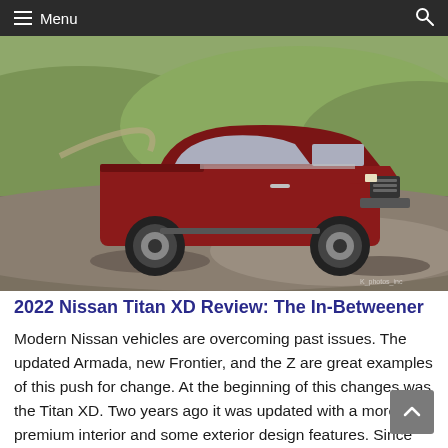Menu
[Figure (photo): A red Nissan Titan XD pickup truck parked on a gravel dirt mound with rolling green hills and a dirt road in the background.]
2022 Nissan Titan XD Review: The In-Betweener
Modern Nissan vehicles are overcoming past issues. The updated Armada, new Frontier, and the Z are great examples of this push for change. At the beginning of this changes was the Titan XD. Two years ago it was updated with a more premium interior and some exterior design features. Since then not much has changed. It is still powered by the excellent 5.6-liter V8